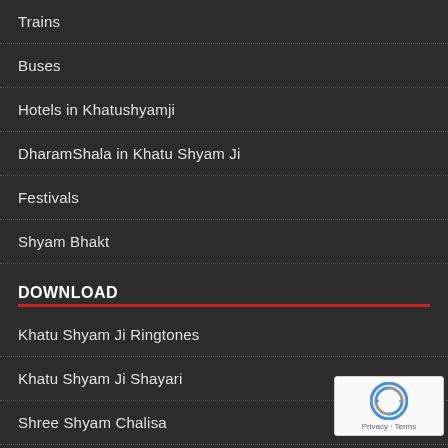Trains
Buses
Hotels in Khatushyamji
DharamShala in Khatu Shyam Ji
Festivals
Shyam Bhakt
DOWNLOAD
Khatu Shyam Ji Ringtones
Khatu Shyam Ji Shayari
Shree Shyam Chalisa
Shyam Videos
Wallpapers
Khatu Shyam Ji Status Message